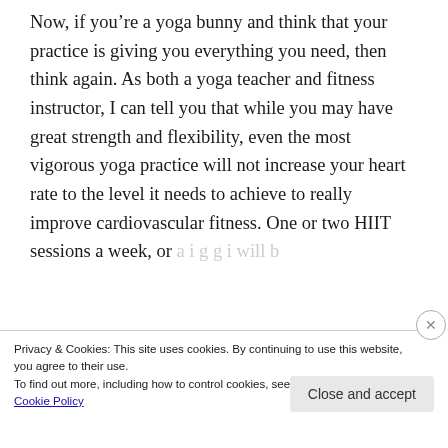Now, if you're a yoga bunny and think that your practice is giving you everything you need, then think again. As both a yoga teacher and fitness instructor, I can tell you that while you may have great strength and flexibility, even the most vigorous yoga practice will not increase your heart rate to the level it needs to achieve to really improve cardiovascular fitness. One or two HIIT sessions a week, or …
Privacy & Cookies: This site uses cookies. By continuing to use this website, you agree to their use.
To find out more, including how to control cookies, see here:
Cookie Policy
Close and accept